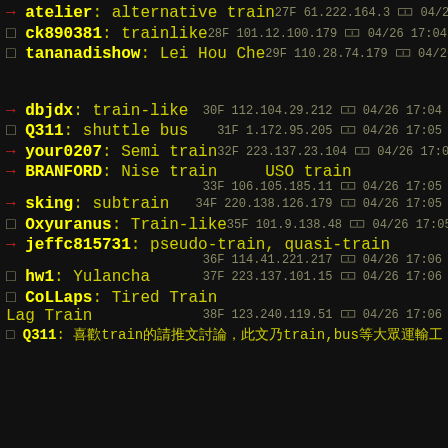→ atelier: alternative train  27F 61.222.164.3 04/26 17:04
□ ck890381: trainlike  28F 101.12.100.179 04/26 17:04
□ tananadishow: Lei Hou Che  29F 110.28.74.179 04/26 17:04
→ dbjdx: train-like  30F 112.104.29.212 04/26 17:04
□ Q311: shuttle bus  31F 1.172.95.205 04/26 17:05
→ your0207: Semi train  32F 223.137.23.104 04/26 17:05
→ BRANFORD: Nise train  USO train  33F 106.105.185.11 04/26 17:05
→ sking: subtrain  34F 220.138.126.179 04/26 17:05
□ Oxyuranus: Train-like  35F 101.9.138.48 04/26 17:05
→ jeffc815731: pseudo-train, quasi-train  36F 114.41.221.217 04/26 17:06
□ hw1: Yulancha  37F 223.137.101.15 04/26 17:06
□ CoLLaps: Tired Train Lag Train  38F 123.240.119.51 04/26 17:06
□ Q311: [Chinese text] train [Chinese text] bus [Chinese text]